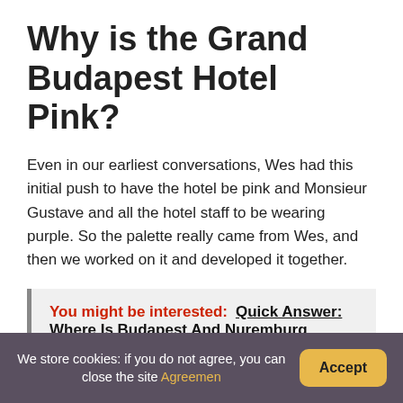Why is the Grand Budapest Hotel Pink?
Even in our earliest conversations, Wes had this initial push to have the hotel be pink and Monsieur Gustave and all the hotel staff to be wearing purple. So the palette really came from Wes, and then we worked on it and developed it together.
You might be interested: Quick Answer: Where Is Budapest And Nuremburg Located?
We store cookies: if you do not agree, you can close the site Agreement